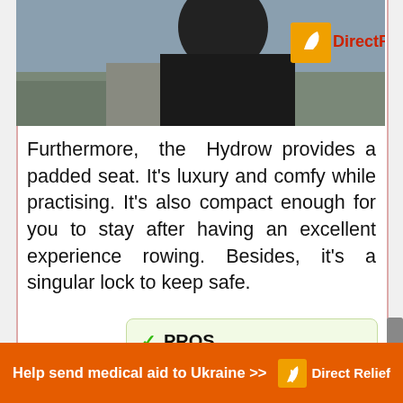[Figure (photo): Photo of a person wearing a black t-shirt with Direct Relief logo in orange and red text, with debris/rubble in the background.]
Furthermore, the Hydrow provides a padded seat. It's luxury and comfy while practising. It's also compact enough for you to stay after having an excellent experience rowing. Besides, it's a singular lock to keep safe.
✓ PROS
[Figure (infographic): Orange advertisement banner reading 'Help send medical aid to Ukraine >>' with Direct Relief logo on the right side.]